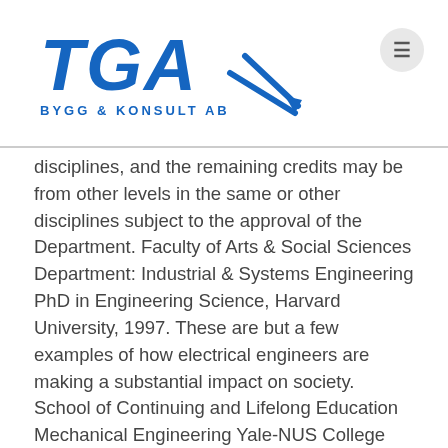TGA BYGG & KONSULT AB
disciplines, and the remaining credits may be from other levels in the same or other disciplines subject to the approval of the Department. Faculty of Arts & Social Sciences Department: Industrial & Systems Engineering PhD in Engineering Science, Harvard University, 1997. These are but a few examples of how electrical engineers are making a substantial impact on society. School of Continuing and Lifelong Education Mechanical Engineering Yale-NUS College Prof Chua currently heads the Department of Electrical & Computer Engineering at NUS. Part I: General Part II: Programmes Academic Calendar Yong Siew Toh Conservatory of Music Administrative Policies / Procedures Ms Linn Linn Lab Officer L3 Metrology and Analysis Tel:660 17035 … 5 Engineering Drive 1, Singapore 117608. We aim to provide a one-stop solution for all engineering needs. Comprising of individuals with decades of expertise and experience, AEGIS Engineering possess the capability to deal with a huge